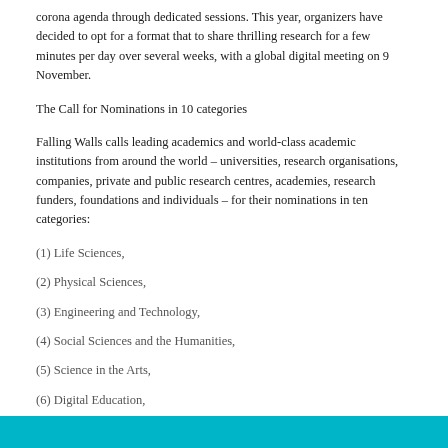corona agenda through dedicated sessions. This year, organizers have decided to opt for a format that to share thrilling research for a few minutes per day over several weeks, with a global digital meeting on 9 November.
The Call for Nominations in 10 categories
Falling Walls calls leading academics and world-class academic institutions from around the world – universities, research organisations, companies, private and public research centres, academies, research funders, foundations and individuals – for their nominations in ten categories:
(1) Life Sciences,
(2) Physical Sciences,
(3) Engineering and Technology,
(4) Social Sciences and the Humanities,
(5) Science in the Arts,
(6) Digital Education,
(7) Science and Innovation Management,
(8) Emerging Talents (Falling Walls Lab),